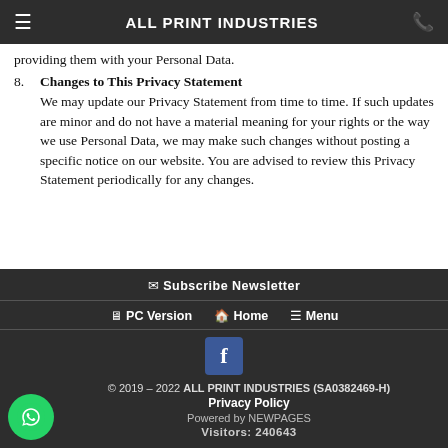ALL PRINT INDUSTRIES
providing them with your Personal Data.
8. Changes to This Privacy Statement
We may update our Privacy Statement from time to time. If such updates are minor and do not have a material meaning for your rights or the way we use Personal Data, we may make such changes without posting a specific notice on our website. You are advised to review this Privacy Statement periodically for any changes.
Subscribe Newsletter
🖥 PC Version  🏠 Home  ☰ Menu
© 2019 – 2022 ALL PRINT INDUSTRIES (SA0382469-H)
Privacy Policy
Powered by NEWPAGES
Visitors: 240643